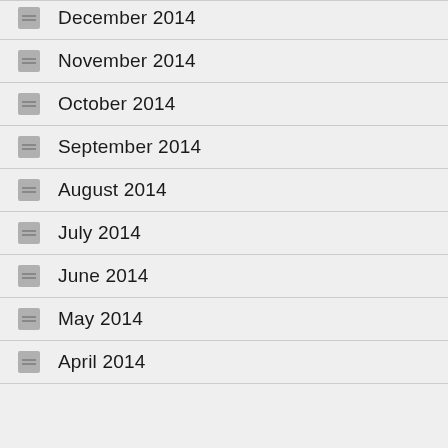December 2014
November 2014
October 2014
September 2014
August 2014
July 2014
June 2014
May 2014
April 2014